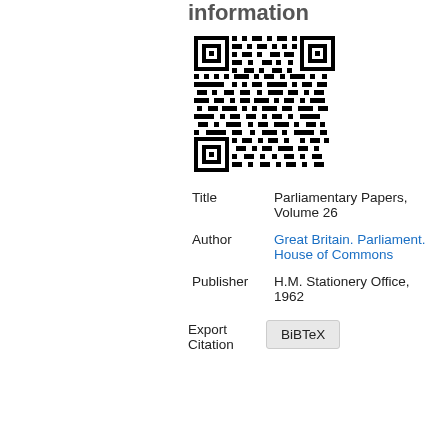information
[Figure (other): QR code linking to document information]
| Title | Parliamentary Papers, Volume 26 |
| Author | Great Britain. Parliament. House of Commons |
| Publisher | H.M. Stationery Office, 1962 |
Export Citation  BiBTeX